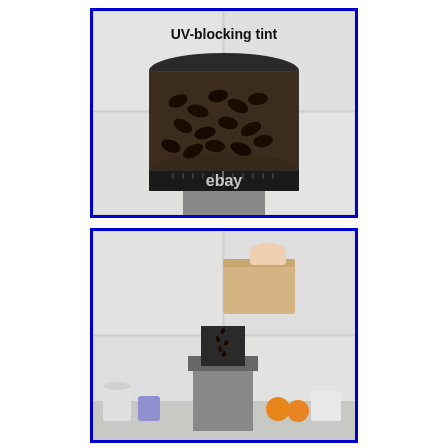[Figure (photo): Close-up photo of a coffee grinder with a dark tinted hopper filled with coffee beans. Text overlay reads 'UV-blocking tint' at the top. An 'ebay' watermark is visible at the bottom. White subway tile background.]
[Figure (photo): Photo of a hand pouring coffee beans from a paper bag into the hopper of a coffee grinder. White subway tile background with kitchen items visible at the bottom.]